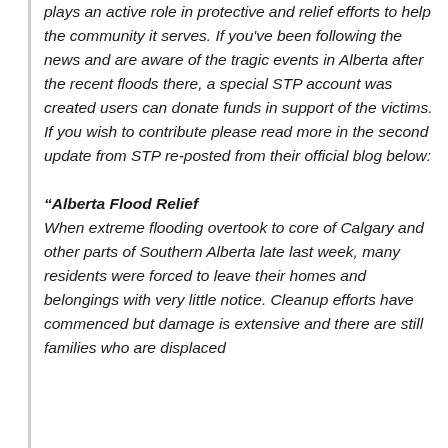plays an active role in protective and relief efforts to help the community it serves. If you've been following the news and are aware of the tragic events in Alberta after the recent floods there, a special STP account was created users can donate funds in support of the victims. If you wish to contribute please read more in the second update from STP re-posted from their official blog below:
“Alberta Flood Relief
When extreme flooding overtook to core of Calgary and other parts of Southern Alberta late last week, many residents were forced to leave their homes and belongings with very little notice. Cleanup efforts have commenced but damage is extensive and there are still families who are displaced